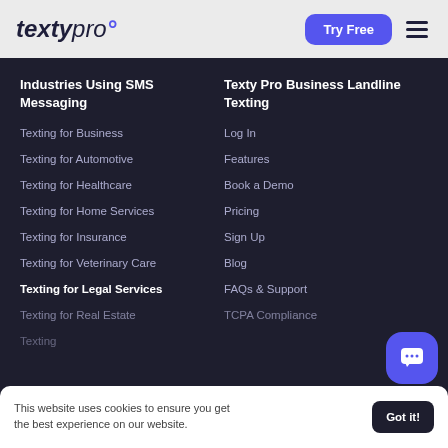[Figure (logo): TextyPro logo in italic bold/light style with colored dot]
Industries Using SMS Messaging
Texty Pro Business Landline Texting
Texting for Business
Texting for Automotive
Texting for Healthcare
Texting for Home Services
Texting for Insurance
Texting for Veterinary Care
Texting for Legal Services
Texting for Real Estate
Texting
Log In
Features
Book a Demo
Pricing
Sign Up
Blog
FAQs & Support
TCPA Compliance
This website uses cookies to ensure you get the best experience on our website.